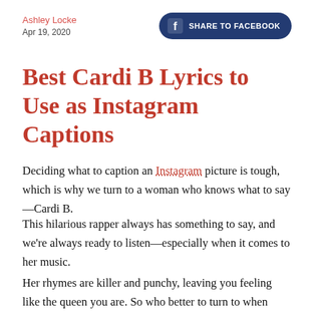Ashley Locke
Apr 19, 2020
Best Cardi B Lyrics to Use as Instagram Captions
Deciding what to caption an Instagram picture is tough, which is why we turn to a woman who knows what to say—Cardi B.
This hilarious rapper always has something to say, and we're always ready to listen—especially when it comes to her music.
Her rhymes are killer and punchy, leaving you feeling like the queen you are. So who better to turn to when you're at a loss for words than Cardi?